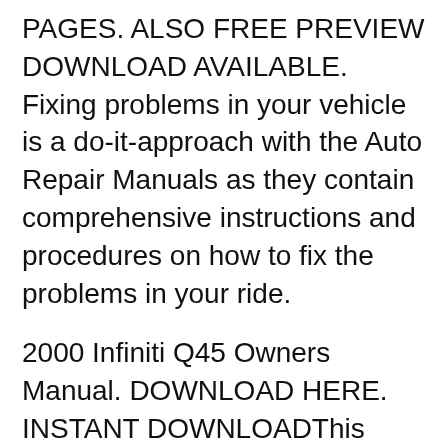PAGES. ALSO FREE PREVIEW DOWNLOAD AVAILABLE. Fixing problems in your vehicle is a do-it-approach with the Auto Repair Manuals as they contain comprehensive instructions and procedures on how to fix the problems in your ride.
2000 Infiniti Q45 Owners Manual. DOWNLOAD HERE. INSTANT DOWNLOADThis manual is compiled in digital PDF format from the Original Factory Owners Manual.It contains the exact information as the This is the most complete Service Repair Manual for the 2002 Infiniti Q45.Service Repair Manual can come in handy especially when you have to do immediate repair